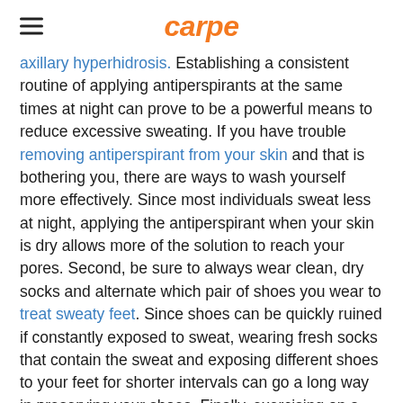carpe
axillary hyperhidrosis. Establishing a consistent routine of applying antiperspirants at the same times at night can prove to be a powerful means to reduce excessive sweating. If you have trouble removing antiperspirant from your skin and that is bothering you, there are ways to wash yourself more effectively. Since most individuals sweat less at night, applying the antiperspirant when your skin is dry allows more of the solution to reach your pores. Second, be sure to always wear clean, dry socks and alternate which pair of shoes you wear to treat sweaty feet. Since shoes can be quickly ruined if constantly exposed to sweat, wearing fresh socks that contain the sweat and exposing different shoes to your feet for shorter intervals can go a long way in preserving your shoes. Finally, exercising on a consistent basis can help reduce sweat. Specifically, practicing yoga on a consistent basis can help reduce the amount of sweat your body produces. All of these measures can help